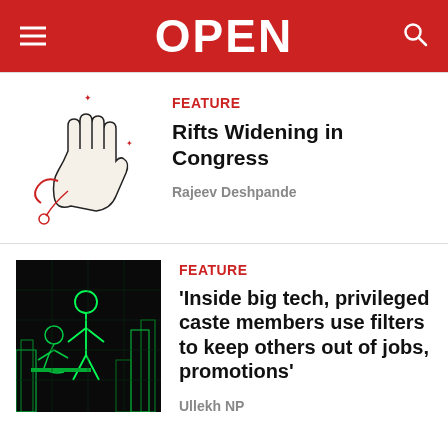OPEN
[Figure (illustration): Illustration of an open hand with the Congress party hand symbol, with red string/lines.]
FEATURE
Rifts Widening in Congress
Rajeev Deshpande
[Figure (illustration): Dark illustration with glowing green outlines of figures in a city/tech environment.]
FEATURE
‘Inside big tech, privileged caste members use filters to keep others out of jobs, promotions’
Ullekh NP